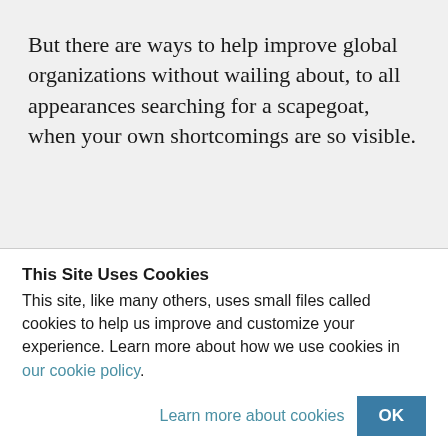But there are ways to help improve global organizations without wailing about, to all appearances searching for a scapegoat, when your own shortcomings are so visible.
This Site Uses Cookies
This site, like many others, uses small files called cookies to help us improve and customize your experience. Learn more about how we use cookies in our cookie policy.
Learn more about cookies   OK